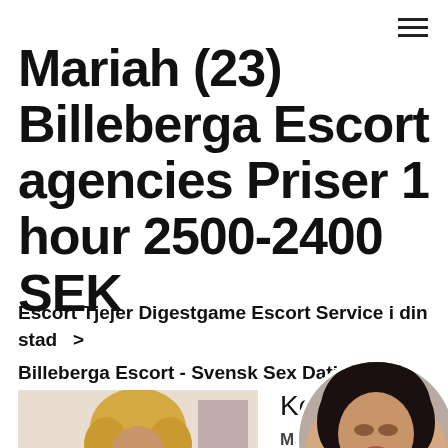Mariah (23) Billeberga Escort agencies Priser 1 hour 2500-2400 SEK
Escort Tjejer Digestgame Escort Service i din stad  >
Billeberga Escort - Svensk Sex Dating
[Figure (photo): Photo of a woman with curly blonde hair holding flowers]
Kontaktu
Madeline
Billeberga
Inlagd: 16:35 27.02.2021
[Figure (photo): Circular avatar photo of a dark-haired woman]